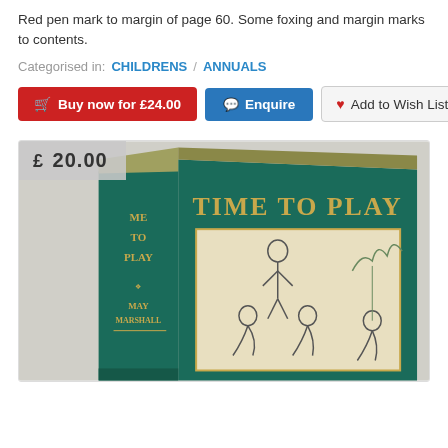Red pen mark to margin of page 60. Some foxing and margin marks to contents.
Categorised in: CHILDRENS / ANNUALS
Buy now for £24.00 | Enquire | Add to Wish List
[Figure (photo): Photo of a vintage hardback book titled 'TIME TO PLAY' by May Marshall, shown from an angle displaying both spine and front cover. The cover is dark teal/green with gold lettering and a cream illustrated panel showing children playing. A price badge in the top left shows £ 20.00.]